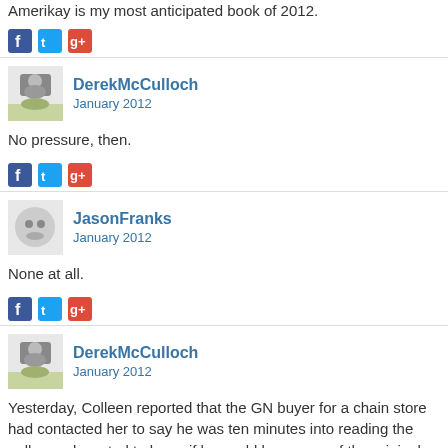Amerikay is my most anticipated book of 2012.
[Figure (other): Social share icons: Facebook, Twitter, Google+]
DerekMcCulloch
January 2012
No pressure, then.
[Figure (other): Social share icons: Facebook, Twitter, Google+]
JasonFranks
January 2012
None at all.
[Figure (other): Social share icons: Facebook, Twitter, Google+]
DerekMcCulloch
January 2012
Yesterday, Colleen reported that the GN buyer for a chain store had contacted her to say he was ten minutes into reading the galley and wanted to know if he could buy some of the original art.  He kept up a correspondence as he was reading the book, which ended up with him in (manly, I'm sure) tears over the ending.  I think this all bodes pretty well for our order at that store.